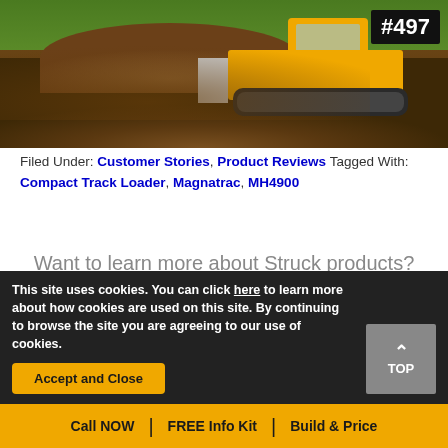[Figure (photo): Bulldozer/compact track loader pushing a large dirt pile, with badge #497 in top right corner]
Filed Under: Customer Stories, Product Reviews Tagged With: Compact Track Loader, Magnatrac, MH4900
Want to learn more about Struck products?
Request A FREE Digital Info Kit
This site uses cookies. You can click here to learn more about how cookies are used on this site. By continuing to browse the site you are agreeing to our use of cookies.
Accept and Close
Call NOW | FREE Info Kit | Build & Price